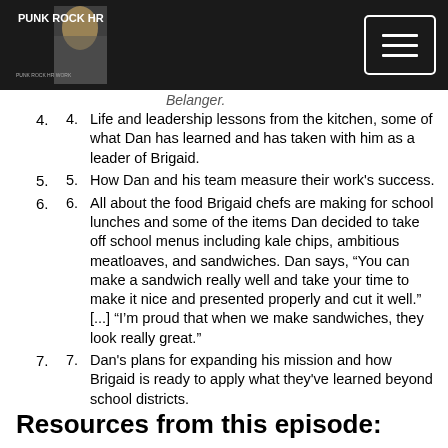Punk Rock HR
4. Life and leadership lessons from the kitchen, some of what Dan has learned and has taken with him as a leader of Brigaid.
5. How Dan and his team measure their work’s success.
6. All about the food Brigaid chefs are making for school lunches and some of the items Dan decided to take off school menus including kale chips, ambitious meatloaves, and sandwiches. Dan says, “You can make a sandwich really well and take your time to make it nice and presented properly and cut it well.” [...] “I’m proud that when we make sandwiches, they look really great.”
7. Dan’s plans for expanding his mission and how Brigaid is ready to apply what they've learned beyond school districts.
Resources from this episode: